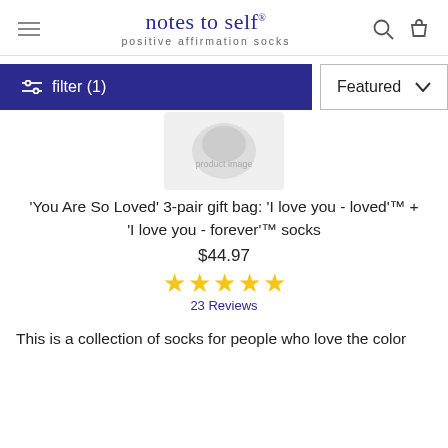notes to self® positive affirmation socks
[Figure (screenshot): E-commerce filter bar with dark blue 'filter (1)' button on left and 'Featured' dropdown with chevron on right]
[Figure (photo): Product image placeholder - partially visible sock gift bag product image]
'You Are So Loved' 3-pair gift bag: 'I love you - loved'™ + 'I love you - forever'™ socks
$44.97
★★★★★ 23 Reviews
This is a collection of socks for people who love the color